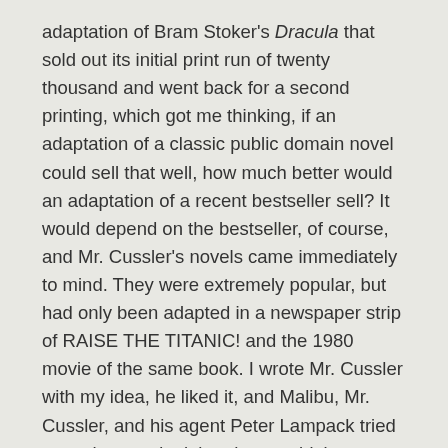adaptation of Bram Stoker's Dracula that sold out its initial print run of twenty thousand and went back for a second printing, which got me thinking, if an adaptation of a classic public domain novel could sell that well, how much better would an adaptation of a recent bestseller sell? It would depend on the bestseller, of course, and Mr. Cussler's novels came immediately to mind. They were extremely popular, but had only been adapted in a newspaper strip of RAISE THE TITANIC! and the 1980 movie of the same book. I wrote Mr. Cussler with my idea, he liked it, and Malibu, Mr. Cussler, and his agent Peter Lampack tried to work out a deal, but they couldn't come to an agreement.
A few years later I was reading THE TOM CLANCY COMPANION and, being a Clive Cussler fan, I thought there should be a CLIVE CUSSLER COMPANION. I